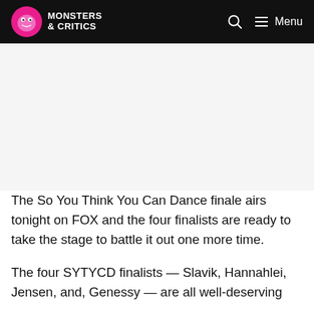Monsters & Critics — Menu
[Figure (other): Advertisement / blank area below header navigation]
The So You Think You Can Dance finale airs tonight on FOX and the four finalists are ready to take the stage to battle it out one more time.
The four SYTYCD finalists — Slavik, Hannahlei, Jensen, and, Genessy — are all well-deserving